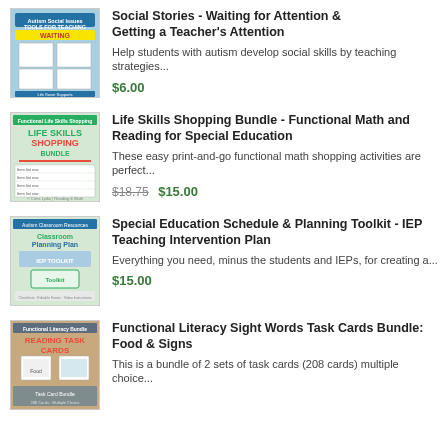[Figure (illustration): Product thumbnail for Social Stories - Waiting for Attention book/worksheet set with teal background]
Social Stories - Waiting for Attention & Getting a Teacher's Attention
Help students with autism develop social skills by teaching strategies...
$6.00
[Figure (illustration): Product thumbnail for Life Skills Shopping Bundle with green background]
Life Skills Shopping Bundle - Functional Math and Reading for Special Education
These easy print-and-go functional math shopping activities are perfect...
$18.75 $15.00
[Figure (illustration): Product thumbnail for Special Education Schedule & Planning Toolkit with green/teal background]
Special Education Schedule & Planning Toolkit - IEP Teaching Intervention Plan
Everything you need, minus the students and IEPs, for creating a...
$15.00
[Figure (illustration): Product thumbnail for Functional Literacy Sight Words Task Cards Bundle with reading task cards]
Functional Literacy Sight Words Task Cards Bundle: Food & Signs
This is a bundle of 2 sets of task cards (208 cards) multiple choice...